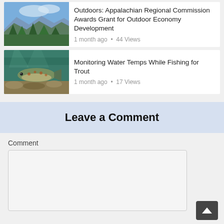[Figure (photo): Thumbnail photo of Appalachian mountain landscape with blue ridges and green forest]
Outdoors: Appalachian Regional Commission Awards Grant for Outdoor Economy Development
1 month ago • 44 Views
[Figure (photo): Thumbnail photo of a trout fish underwater near rocky riverbed]
Monitoring Water Temps While Fishing for Trout
1 month ago • 17 Views
Leave a Comment
Comment